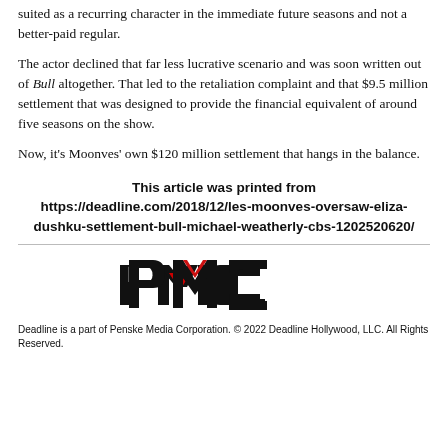suited as a recurring character in the immediate future seasons and not a better-paid regular.
The actor declined that far less lucrative scenario and was soon written out of Bull altogether. That led to the retaliation complaint and that $9.5 million settlement that was designed to provide the financial equivalent of around five seasons on the show.
Now, it’s Moonves’ own $120 million settlement that hangs in the balance.
This article was printed from https://deadline.com/2018/12/les-moonves-oversaw-eliza-dushku-settlement-bull-michael-weatherly-cbs-1202520620/
[Figure (logo): PMC (Penske Media Corporation) logo in black and red]
Deadline is a part of Penske Media Corporation. © 2022 Deadline Hollywood, LLC. All Rights Reserved.